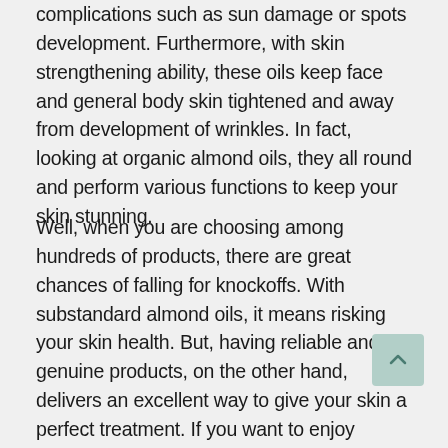complications such as sun damage or spots development. Furthermore, with skin strengthening ability, these oils keep face and general body skin tightened and away from development of wrinkles. In fact, looking at organic almond oils, they all round and perform various functions to keep your skin stunning.
Well, when you are choosing among hundreds of products, there are great chances of falling for knockoffs. With substandard almond oils, it means risking your skin health. But, having reliable and genuine products, on the other hand, delivers an excellent way to give your skin a perfect treatment. If you want to enjoy natural skin treatment, then here are top 10 best almond oils in 2021 that everyone needs.